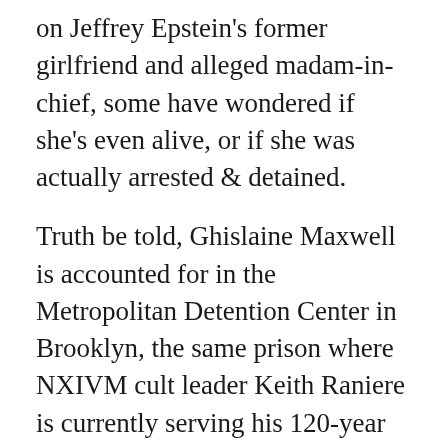on Jeffrey Epstein's former girlfriend and alleged madam-in-chief, some have wondered if she's even alive, or if she was actually arrested & detained.
Truth be told, Ghislaine Maxwell is accounted for in the Metropolitan Detention Center in Brooklyn, the same prison where NXIVM cult leader Keith Raniere is currently serving his 120-year sentence. And while we can say the former socialite & progeny of The Daily Mirror mogul Robert Maxwell is alive & well, she's far from happy. For a second time now, Ghislaine Maxwell has been denied bail.